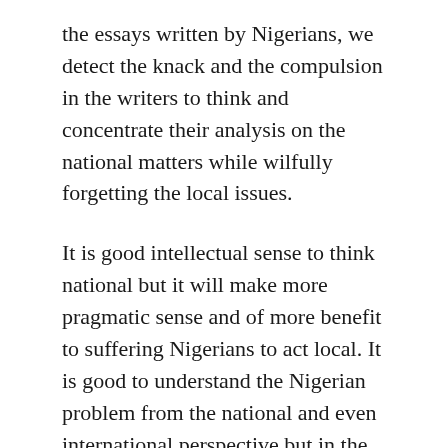the essays written by Nigerians, we detect the knack and the compulsion in the writers to think and concentrate their analysis on the national matters while wilfully forgetting the local issues.
It is good intellectual sense to think national but it will make more pragmatic sense and of more benefit to suffering Nigerians to act local. It is good to understand the Nigerian problem from the national and even international perspective but in the design of solutions let us act from the community level.
The organisation of the Sovereign Community Conference is an area where